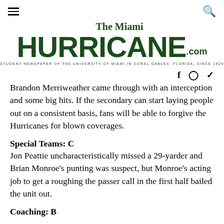The Miami HURRICANE.com — STUDENT NEWSPAPER OF THE UNIVERSITY OF MIAMI IN CORAL GABLES, FLORIDA, SINCE 1929
Brandon Merriweather came through with an interception and some big hits. If the secondary can start laying people out on a consistent basis, fans will be able to forgive the Hurricanes for blown coverages.
Special Teams: C
Jon Peattie uncharacteristically missed a 29-yarder and Brian Monroe's punting was suspect, but Monroe's acting job to get a roughing the passer call in the first half bailed the unit out.
Coaching: B